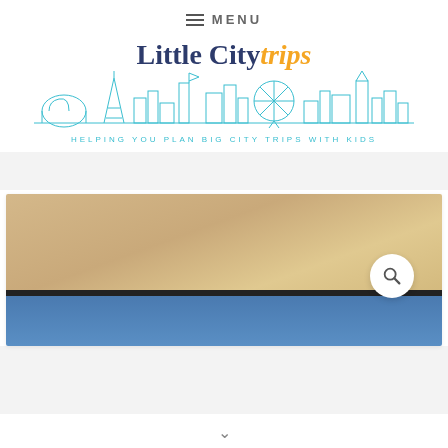≡ MENU
[Figure (logo): Little City Trips logo with teal city skyline illustration and tagline 'HELPING YOU PLAN BIG CITY TRIPS WITH KIDS']
[Figure (photo): Interior ceiling photo with beige/tan ceiling and blue wall/window at bottom, with a circular search icon overlay]